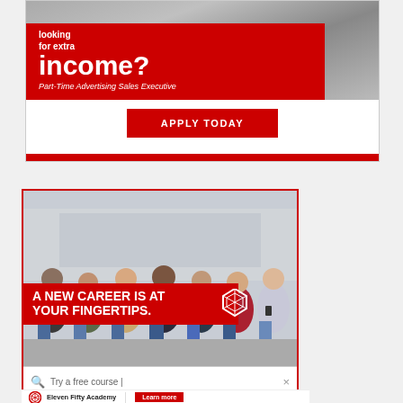[Figure (illustration): Top advertisement banner: photo of person on phone in grayscale, red overlay with text 'looking for extra income?' and subtitle 'Part-Time Advertising Sales Executive', with 'APPLY TODAY' red button below, and red bar at bottom.]
[Figure (illustration): Bottom advertisement: photo of group of young people sitting and looking at phones, red overlay text 'A NEW CAREER IS AT YOUR FINGERTIPS.' with a geometric logo, search bar below reading 'Try a free course', and bottom strip with Eleven Fifty Academy logo and 'Learn more' button.]